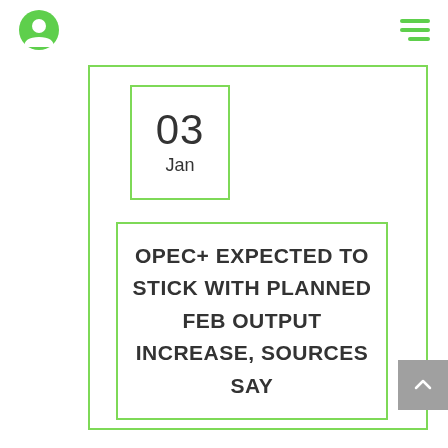[Figure (other): User profile icon (green circle with person silhouette) in top-left navigation, and hamburger menu icon (three green horizontal lines) in top-right navigation]
[Figure (other): Date box with green border showing '03' in large text and 'Jan' below]
OPEC+ EXPECTED TO STICK WITH PLANNED FEB OUTPUT INCREASE, SOURCES SAY